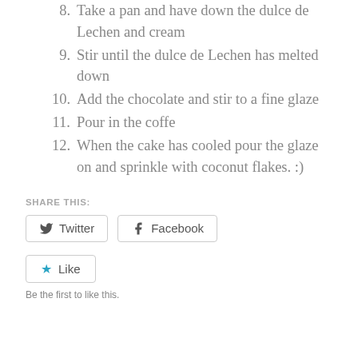8. Take a pan and have down the dulce de Lechen and cream
9. Stir until the dulce de Lechen has melted down
10. Add the chocolate and stir to a fine glaze
11. Pour in the coffe
12. When the cake has cooled pour the glaze on and sprinkle with coconut flakes. :)
SHARE THIS:
Twitter
Facebook
Like
Be the first to like this.